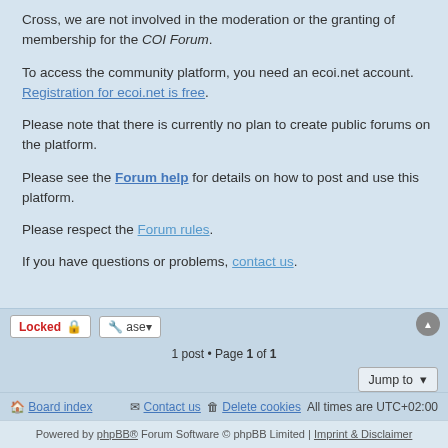Cross, we are not involved in the moderation or the granting of membership for the COI Forum.
To access the community platform, you need an ecoi.net account. Registration for ecoi.net is free.
Please note that there is currently no plan to create public forums on the platform.
Please see the Forum help for details on how to post and use this platform.
Please respect the Forum rules.
If you have questions or problems, contact us.
[Figure (screenshot): Bottom toolbar with Locked button, tool button, pagination showing '1 post • Page 1 of 1', Jump to dropdown, and cookie consent overlay reading 'use cookies to ensure you get the best experience on our website. Learn more' with Got it! button]
Board index | Contact us | Delete cookies | All times are UTC+02:00
Powered by phpBB® Forum Software © phpBB Limited | Imprint & Disclaimer